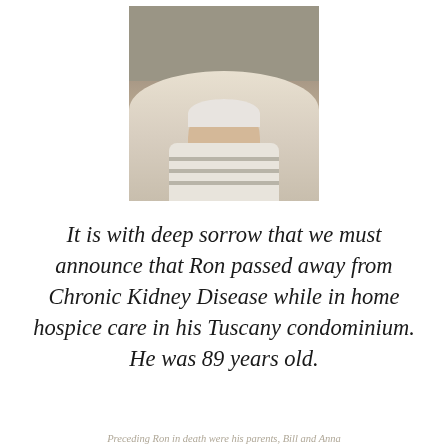[Figure (photo): Portrait photo of an elderly man with white hair and beard, wearing a striped collared shirt, seated indoors against a neutral wall background.]
It is with deep sorrow that we must announce that Ron passed away from Chronic Kidney Disease while in home hospice care in his Tuscany condominium.  He was 89 years old.
Preceding Ron in death were his parents, Bill and Anna